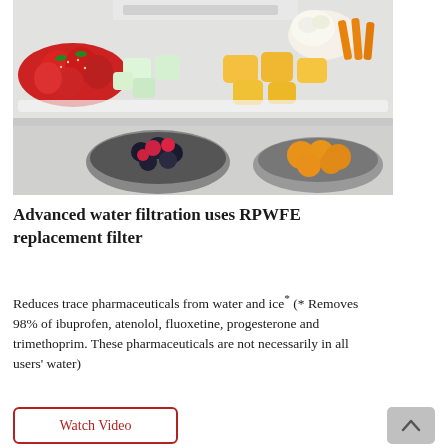[Figure (photo): Open refrigerator shelf showing fresh cut fruits including strawberries, honeydew melon, cantaloupe in the top shelf, and bowls of mixed berries and apricots on the lower shelf. White refrigerator interior visible.]
Advanced water filtration uses RPWFE replacement filter
Reduces trace pharmaceuticals from water and ice* (* Removes 98% of ibuprofen, atenolol, fluoxetine, progesterone and trimethoprim. These pharmaceuticals are not necessarily in all users' water)